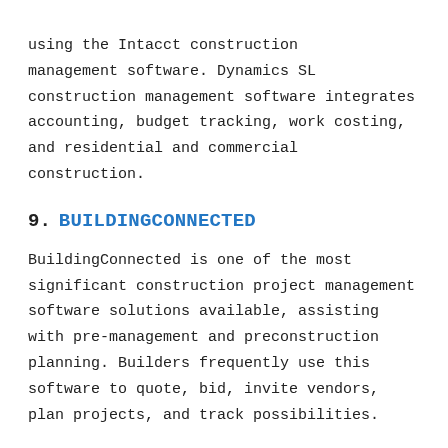using the Intacct construction management software. Dynamics SL construction management software integrates accounting, budget tracking, work costing, and residential and commercial construction.
9. BUILDINGCONNECTED
BuildingConnected is one of the most significant construction project management software solutions available, assisting with pre-management and preconstruction planning. Builders frequently use this software to quote, bid, invite vendors, plan projects, and track possibilities.